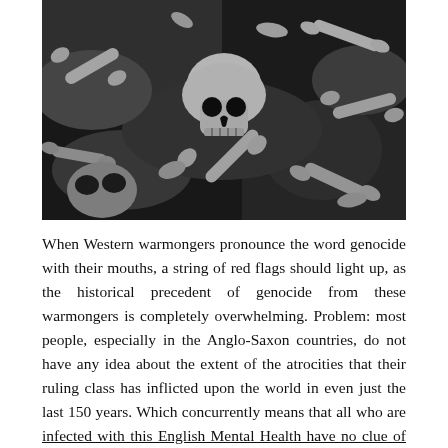[Figure (photo): Black and white photograph of a mass burial site showing a human skull and scattered bones.]
When Western warmongers pronounce the word genocide with their mouths, a string of red flags should light up, as the historical precedent of genocide from these warmongers is completely overwhelming. Problem: most people, especially in the Anglo-Saxon countries, do not have any idea about the extent of the atrocities that their ruling class has inflicted upon the world in even just the last 150 years. Which concurrently means that all who are infected with this English Mental Health have no clue of the